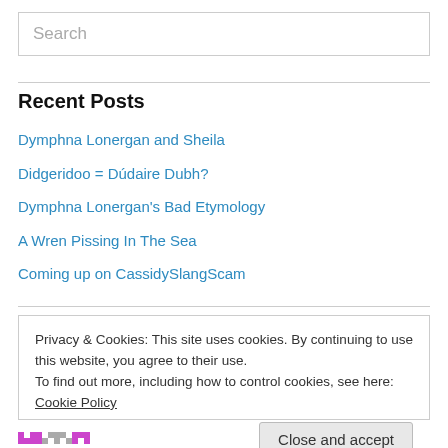Search
Recent Posts
Dymphna Lonergan and Sheila
Didgeridoo = Dúdaire Dubh?
Dymphna Lonergan's Bad Etymology
A Wren Pissing In The Sea
Coming up on CassidySlangScam
Privacy & Cookies: This site uses cookies. By continuing to use this website, you agree to their use. To find out more, including how to control cookies, see here: Cookie Policy
Close and accept